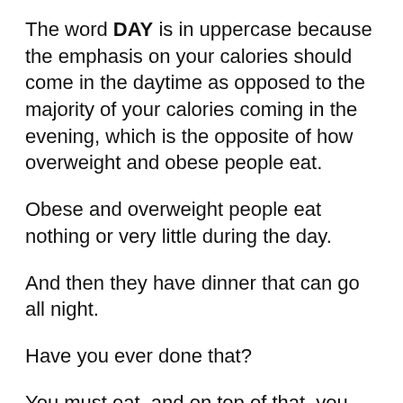The word DAY is in uppercase because the emphasis on your calories should come in the daytime as opposed to the majority of your calories coming in the evening, which is the opposite of how overweight and obese people eat.
Obese and overweight people eat nothing or very little during the day.
And then they have dinner that can go all night.
Have you ever done that?
You must eat, and on top of that, you have to add the best times for eating.